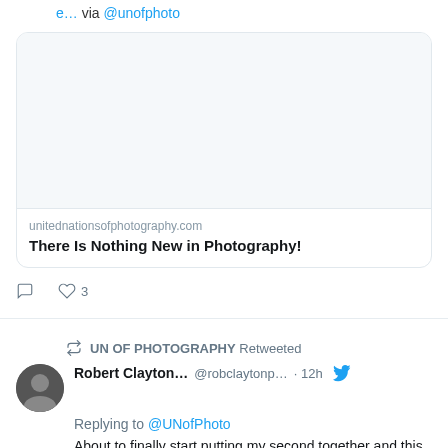e… via @unofphoto
[Figure (screenshot): Embedded tweet card showing a white image placeholder above the URL unitednationsofphotography.com and the title 'There Is Nothing New in Photography!']
3 likes
UN OF PHOTOGRAPHY Retweeted
Robert Clayton... @robclaytonp... · 12h
Replying to @UNofPhoto
About to finally start putting my second together and this us a must read for anyone considering this venture.